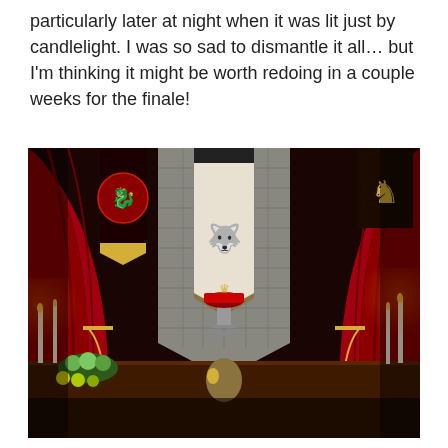particularly later at night when it was lit just by candlelight. I was so sad to dismantle it all… but I'm thinking it might be worth redoing in a couple weeks for the finale!
[Figure (photo): Game of Thrones themed banquet table setup with red velvet curtains, house sigil banners (Targaryen dragon on left, Lannister lion on right, Stark direwolf in center), stone wall backdrop, elaborate feast table with fruits, candles, decorative cakes on pedestals, dragon eggs, and medieval-style tableware.]